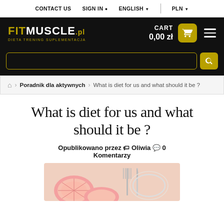CONTACT US  SIGN IN  ENGLISH  PLN
[Figure (logo): FitMuscle.pl logo with cart showing 0,00 zł and search bar on dark background]
Poradnik dla aktywnych > What is diet for us and what should it be ?
What is diet for us and what should it be ?
Opublikowano przez 🏷 Oliwia 💬 0 Komentarzy
[Figure (photo): Food photo showing grapefruit slices and cutlery on a white plate]